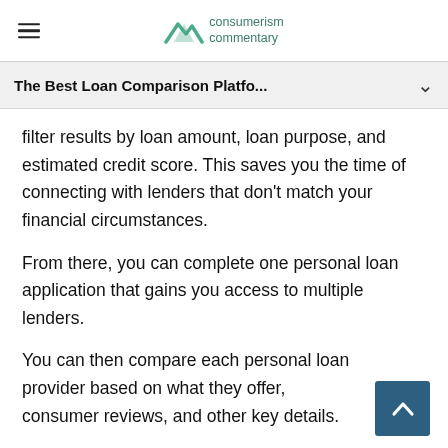consumerism commentary
The Best Loan Comparison Platfo...
filter results by loan amount, loan purpose, and estimated credit score. This saves you the time of connecting with lenders that don't match your financial circumstances.
From there, you can complete one personal loan application that gains you access to multiple lenders.
You can then compare each personal loan provider based on what they offer, consumer reviews, and other key details.